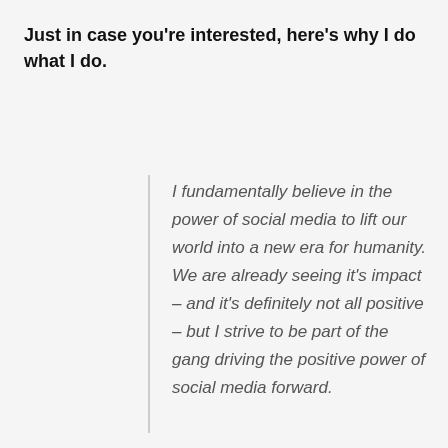Just in case you're interested, here's why I do what I do.
I fundamentally believe in the power of social media to lift our world into a new era for humanity. We are already seeing it's impact – and it's definitely not all positive – but I strive to be part of the gang driving the positive power of social media forward.